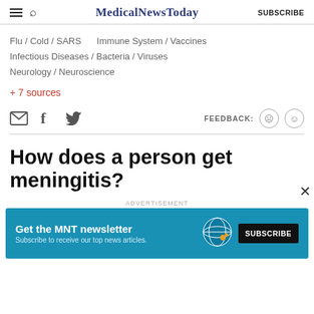MedicalNewsToday  SUBSCRIBE
Flu / Cold / SARS
Immune System / Vaccines
Infectious Diseases / Bacteria / Viruses
Neurology / Neuroscience
+ 7 sources
How does a person get meningitis?
[Figure (infographic): Advertisement banner: 'Get the MNT newsletter – Subscribe to receive our top news articles' with a SUBSCRIBE button and globe graphic on teal background]